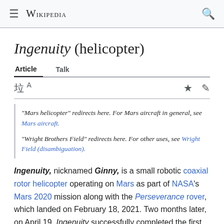≡  WIKIPEDIA  🔍
Ingenuity (helicopter)
Article  Talk
"Mars helicopter" redirects here. For Mars aircraft in general, see Mars aircraft.
"Wright Brothers Field" redirects here. For other uses, see Wright Field (disambiguation).
Ingenuity, nicknamed Ginny, is a small robotic coaxial rotor helicopter operating on Mars as part of NASA's Mars 2020 mission along with the Perseverance rover, which landed on February 18, 2021. Two months later, on April 19, Ingenuity successfully completed the first powered